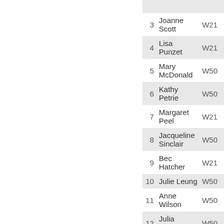| # | Name | Category |
| --- | --- | --- |
| 3 | Joanne Scott | W21 |
| 4 | Lisa Punzet | W21 |
| 5 | Mary McDonald | W50 |
| 6 | Kathy Petrie | W50 |
| 7 | Margaret Peel | W21 |
| 8 | Jacqueline Sinclair | W50 |
| 9 | Bec Hatcher | W21 |
| 10 | Julie Leung | W50 |
| 11 | Anne Wilson | W50 |
| 12 | Julia Prudhoe | W50 |
| 13 | Meredith Gray | W21 |
| 14 | Geraldine Chatfield | W50 |
| 15 | Dawn Clarke | W50 |